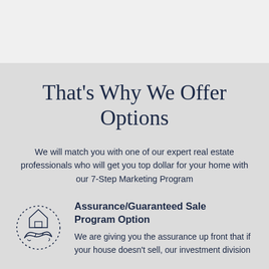That's Why We Offer Options
We will match you with one of our expert real estate professionals who will get you top dollar for your home with our 7-Step Marketing Program
[Figure (illustration): Icon of two hands shaking beneath a small house outline with a dotted circle, representing an assurance or guaranteed sale program]
Assurance/Guaranteed Sale Program Option
We are giving you the assurance up front that if your house doesn't sell, our investment division